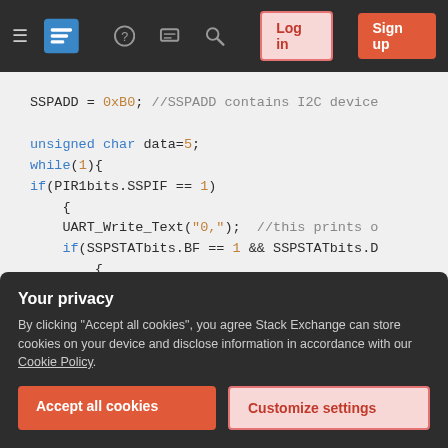[Figure (screenshot): Stack Exchange website navigation bar with hamburger menu, logo, help icon, chat icon, search icon, Log in button, and Sign up button on dark background]
SSPADD = 0xB0; //SSPADD contains I2C device
unsigned char data=5;
while(1){
if(PIR1bits.SSPIF == 1)
    {
    UART_Write_Text("0,");  //this prints o
    if(SSPSTATbits.BF == 1 && SSPSTATbits.D
        {
            //PIR1bits.SSPIF = 0;
            unsigned char addr = I2CRead(1)
            i2c_dly();
            data = I2CRead(0); //read nack
            i2c_dly();
Your privacy
By clicking "Accept all cookies", you agree Stack Exchange can store cookies on your device and disclose information in accordance with our Cookie Policy.
Accept all cookies
Customize settings